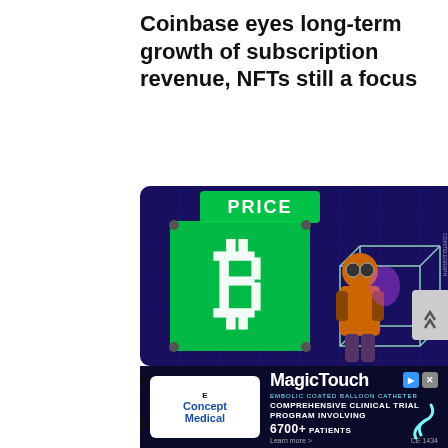Coinbase eyes long-term growth of subscription revenue, NFTs still a focus
[Figure (illustration): Digital illustration showing a large green glowing Bitcoin sign with 'PRICE' label, a character in goggles and orange jacket working on a wireframe cube structure, dark blue/purple city background. Cointelegraph watermark visible.]
[Figure (other): Advertisement banner: MagicTouch EMBOLIC COATED BALLOON CATHETER. Concept Medical logo on left. Text: COMPREHENSIVE CLINICAL TRIAL PROGRAM INVOLVING 6700+ PATIENTS. Learn more. CE 1434 mark.]